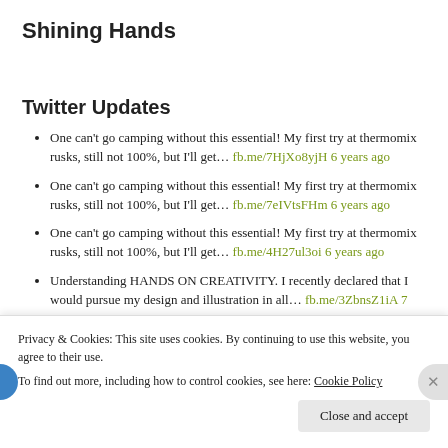Shining Hands
Twitter Updates
One can't go camping without this essential! My first try at thermomix rusks, still not 100%, but I'll get… fb.me/7HjXo8yjH 6 years ago
One can't go camping without this essential! My first try at thermomix rusks, still not 100%, but I'll get… fb.me/7eIVtsFHm 6 years ago
One can't go camping without this essential! My first try at thermomix rusks, still not 100%, but I'll get… fb.me/4H27ul3oi 6 years ago
Understanding HANDS ON CREATIVITY. I recently declared that I would pursue my design and illustration in all… fb.me/3ZbnsZ1iA 7 years ago
Services: Logo's · Corporate Identity · Brochures · Promotional Items · Marketing Tools · Advertising · Web page… fb.me/6monzDgce 7 years ago
Privacy & Cookies: This site uses cookies. By continuing to use this website, you agree to their use. To find out more, including how to control cookies, see here: Cookie Policy
Close and accept